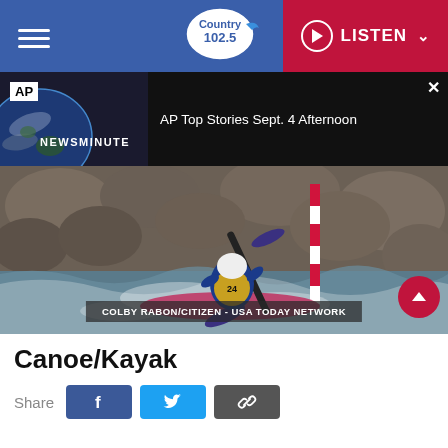Country 102.5 | LISTEN
[Figure (screenshot): AP Newsminute thumbnail showing Earth from space with AP logo and text 'AP Top Stories Sept. 4 Afternoon']
[Figure (photo): Canoe/kayak athlete paddling through white water rapids with rocky background, wearing white helmet and competition vest, holding pink paddle]
COLBY RABON/CITIZEN - USA TODAY NETWORK
Canoe/Kayak
Share